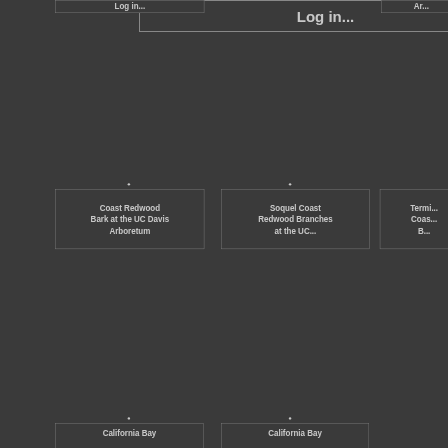Log in...
Ar...
Coast Redwood Bark at the UC Davis Arboretum
Soquel Coast Redwood Branches at the UC...
Termi... Coas... B...
California Bay
California Bay